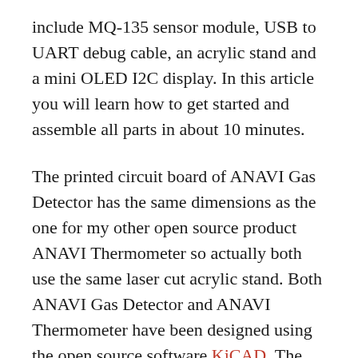include MQ-135 sensor module, USB to UART debug cable, an acrylic stand and a mini OLED I2C display. In this article you will learn how to get started and assemble all parts in about 10 minutes.
The printed circuit board of ANAVI Gas Detector has the same dimensions as the one for my other open source product ANAVI Thermometer so actually both use the same laser cut acrylic stand. Both ANAVI Gas Detector and ANAVI Thermometer have been designed using the open source software KiCAD. The open source software OpenSCAD was used to design the case.